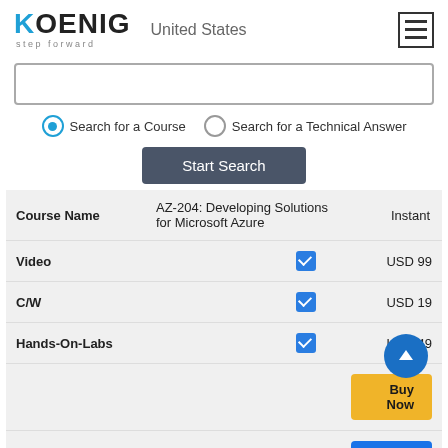[Figure (logo): Koenig Solutions logo with 'step forward' tagline]
United States
[Figure (other): Hamburger menu icon (three horizontal lines)]
[Figure (other): Search input text box]
Search for a Course   Search for a Technical Answer
Start Search
| Course Name |  | Instant |
| --- | --- | --- |
| Course Name | AZ-204: Developing Solutions for Microsoft Azure | Instant |
| Video | ☑ | USD 99 |
| C/W | ☑ | USD 19 |
| Hands-On-Labs | ☑ | USD 49 |
|  |  | Buy Now |
|  |  | Learn More |